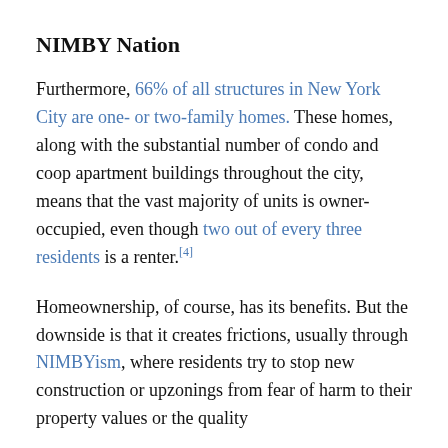NIMBY Nation
Furthermore, 66% of all structures in New York City are one- or two-family homes. These homes, along with the substantial number of condo and coop apartment buildings throughout the city, means that the vast majority of units is owner-occupied, even though two out of every three residents is a renter.[4]
Homeownership, of course, has its benefits. But the downside is that it creates frictions, usually through NIMBYism, where residents try to stop new construction or upzonings from fear of harm to their property values or the quality...